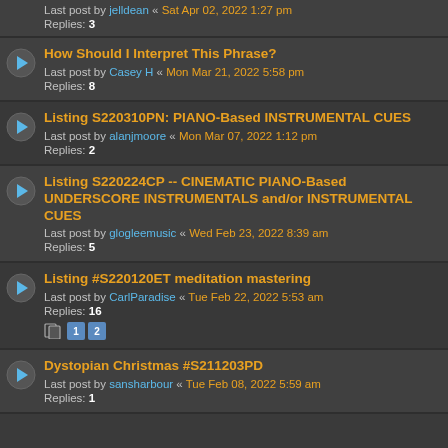Last post by jelldean « Sat Apr 02, 2022 1:27 pm
Replies: 3
How Should I Interpret This Phrase?
Last post by Casey H « Mon Mar 21, 2022 5:58 pm
Replies: 8
Listing S220310PN: PIANO-Based INSTRUMENTAL CUES
Last post by alanjmoore « Mon Mar 07, 2022 1:12 pm
Replies: 2
Listing S220224CP -- CINEMATIC PIANO-Based UNDERSCORE INSTRUMENTALS and/or INSTRUMENTAL CUES
Last post by glogleemusic « Wed Feb 23, 2022 8:39 am
Replies: 5
Listing #S220120ET meditation mastering
Last post by CarlParadise « Tue Feb 22, 2022 5:53 am
Replies: 16
Dystopian Christmas #S211203PD
Last post by sansharbour « Tue Feb 08, 2022 5:59 am
Replies: 1